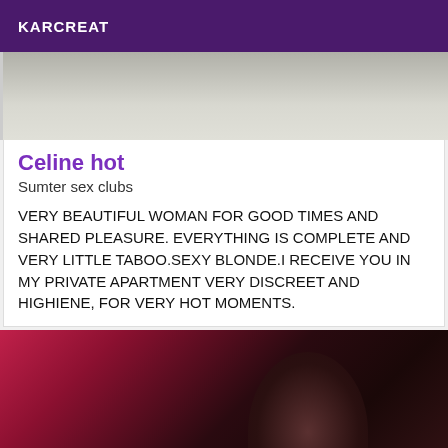KARCREAT
[Figure (photo): Top portion of a photo, showing a light-colored wall or ceiling background]
Celine hot
Sumter sex clubs
VERY BEAUTIFUL WOMAN FOR GOOD TIMES AND SHARED PLEASURE. EVERYTHING IS COMPLETE AND VERY LITTLE TABOO.SEXY BLONDE.I RECEIVE YOU IN MY PRIVATE APARTMENT VERY DISCREET AND HIGHIENE, FOR VERY HOT MOMENTS.
[Figure (photo): Photo of a woman with dark hair in a room with pink/red decor, taking a selfie]